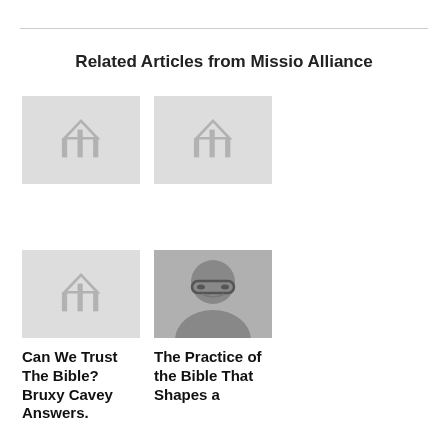Related Articles from Missio Alliance
[Figure (logo): Missio Alliance logo placeholder thumbnail (gray background with white M logo)]
[Figure (logo): Missio Alliance logo placeholder thumbnail (gray background with white M logo)]
[Figure (logo): Missio Alliance logo placeholder thumbnail (gray background with white M logo)]
[Figure (photo): Black and white photo of a man wearing glasses]
Can We Trust The Bible? Bruxy Cavey Answers.
The Practice of the Bible That Shapes a